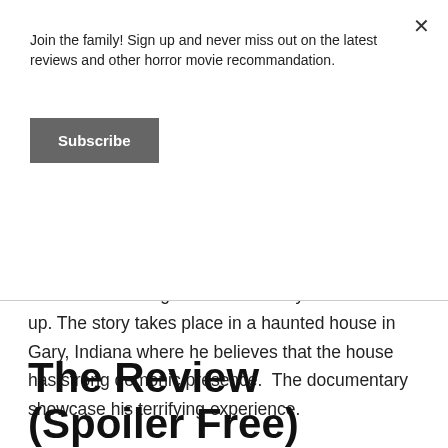Join the family! Sign up and never miss out on the latest reviews and other horror movie recommandation.
Subscribe
paranormal investigator.  Throughout his life, he did many investigations, and this documentary is about one of the investigation which really messed him up. The story takes place in a haunted house in Gary, Indiana where he believes that the house has strong demonic presence.  The documentary showcase his terrifying experience.
The Review (Spoiler Free)